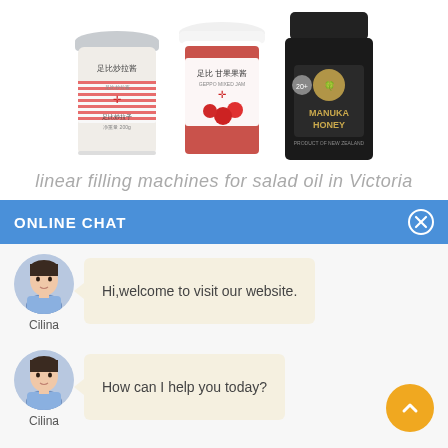[Figure (photo): Three product jars: a white cream jar with Chinese text, a red fruit jam jar with Chinese and English text, and a black Manuka Honey jar]
linear filling machines for salad oil in Victoria
ONLINE CHAT
[Figure (photo): Avatar of a woman named Cilina in a blue shirt]
Hi,welcome to visit our website.
Cilina
[Figure (photo): Avatar of a woman named Cilina in a blue shirt]
How can I help you today?
Cilina